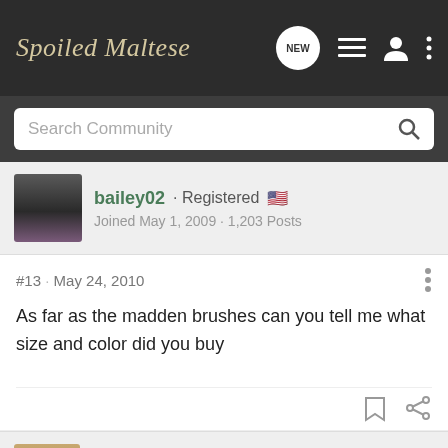Spoiled Maltese
Search Community
bailey02 · Registered
Joined May 1, 2009 · 1,203 Posts
#13 · May 24, 2010
As far as the madden brushes can you tell me what size and color did you buy
yeagerbum · Registered